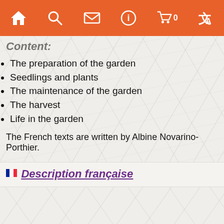[Figure (screenshot): Orange navigation bar with home, search, mail, info, cart (0), and translate icons in white on orange background]
Content:
The preparation of the garden
Seedlings and plants
The maintenance of the garden
The harvest
Life in the garden
The French texts are written by Albine Novarino-Porthier.
Description française
Libri simili
[Figure (photo): Book cover by Jean-François Robert showing a golden decorative rolling pin with leaf motif, dark blue-grey background]
[Figure (photo): Book cover by Jean-François Robert showing a metallic/dark tool handle, dark brownish background]